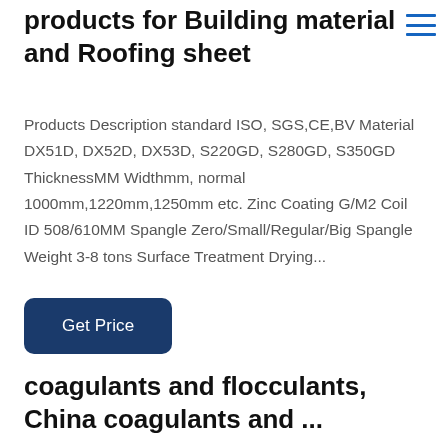products for Building material and Roofing sheet
Products Description standard ISO, SGS,CE,BV Material DX51D, DX52D, DX53D, S220GD, S280GD, S350GD ThicknessMM Widthmm, normal 1000mm,1220mm,1250mm etc. Zinc Coating G/M2 Coil ID 508/610MM Spangle Zero/Small/Regular/Big Spangle Weight 3-8 tons Surface Treatment Drying...
Get Price
coagulants and flocculants, China coagulants and ...